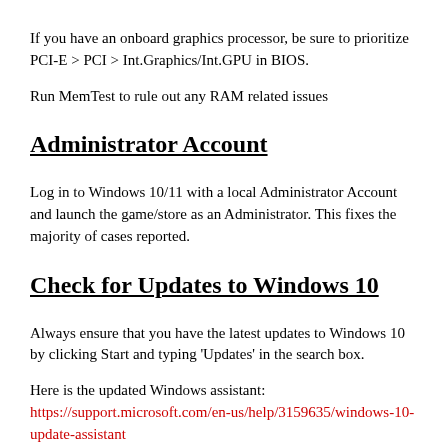If you have an onboard graphics processor, be sure to prioritize PCI-E > PCI > Int.Graphics/Int.GPU in BIOS.
Run MemTest to rule out any RAM related issues
Administrator Account
Log in to Windows 10/11 with a local Administrator Account and launch the game/store as an Administrator. This fixes the majority of cases reported.
Check for Updates to Windows 10
Always ensure that you have the latest updates to Windows 10 by clicking Start and typing 'Updates' in the search box.
Here is the updated Windows assistant: https://support.microsoft.com/en-us/help/3159635/windows-10-update-assistant